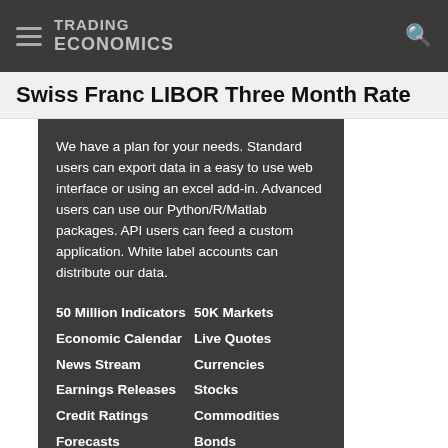TRADING ECONOMICS
Swiss Franc LIBOR Three Month Rate
We have a plan for your needs. Standard users can export data in a easy to use web interface or using an excel add-in. Advanced users can use our Python/R/Matlab packages. API users can feed a custom application. White label accounts can distribute our data.
50 Million Indicators
50K Markets
Economic Calendar
Live Quotes
News Stream
Currencies
Earnings Releases
Stocks
Credit Ratings
Commodities
Forecasts
Bonds
Get Started